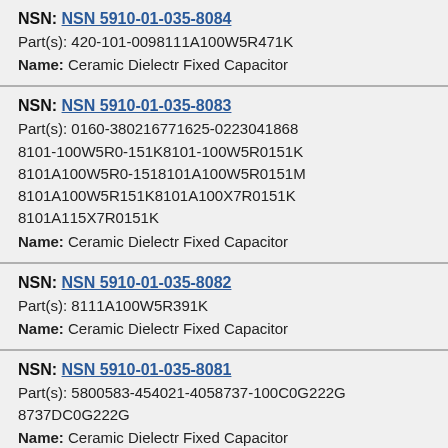NSN: NSN 5910-01-035-8084
Part(s): 420-101-0098111A100W5R471K
Name: Ceramic Dielectr Fixed Capacitor
NSN: NSN 5910-01-035-8083
Part(s): 0160-380216771625-02230418688101-100W5R0-151K8101-100W5R0151K8101A100W5R0-1518101A100W5R0151M8101A100W5R151K8101A100X7R0151K8101A115X7R0151K
Name: Ceramic Dielectr Fixed Capacitor
NSN: NSN 5910-01-035-8082
Part(s): 8111A100W5R391K
Name: Ceramic Dielectr Fixed Capacitor
NSN: NSN 5910-01-035-8081
Part(s): 5800583-454021-4058737-100C0G222G8737DC0G222G
Name: Ceramic Dielectr Fixed Capacitor